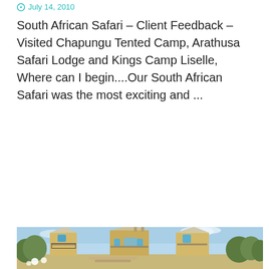July 14, 2010
South African Safari – Client Feedback – Visited Chapungu Tented Camp, Arathusa Safari Lodge and Kings Camp Liselle, Where can I begin....Our South African Safari was the most exciting and ...
READ MORE
[Figure (photo): Exterior photo of a multi-story yellow/cream colonial-style hotel or lodge building with arched windows, balconies with black railings, peaked rooflines with blue trim, surrounded by green trees under a blue sky with white clouds. White flowers visible in the foreground.]